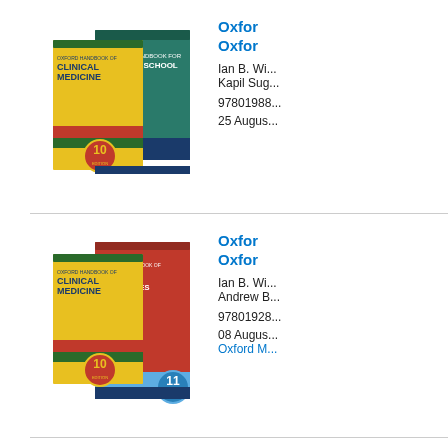[Figure (illustration): Book covers: Oxford Handbook of Clinical Medicine 10th edition and Oxford Handbook for Medical School]
Oxford Handbook of Clinical Medicine / Oxford Handbook for Medical School
Ian B. Wi...
Kapil Sug...
97801988...
25 Augus...
[Figure (illustration): Book covers: Oxford Handbook of Clinical Medicine 10th edition and Oxford Handbook of Clinical Specialties 11th edition]
Oxford Handbook of Clinical Medicine / Oxford Handbook of Clinical Specialties
Ian B. Wi...
Andrew B...
97801928...
08 Augus...
Oxford M...
[Figure (illustration): Book covers: Oxford Handbook of Clinical Medicine 10th edition (partial view, third entry)]
Oxfor...